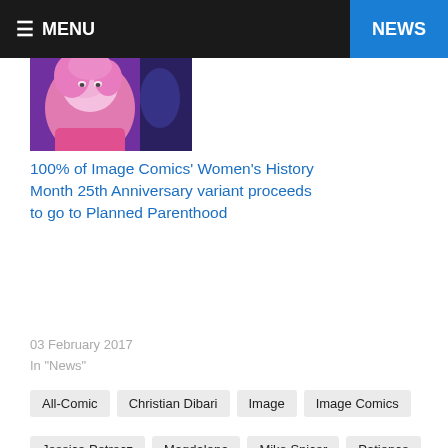☰ MENU   NEWS
[Figure (illustration): Comic book style illustration showing a female character with pink hair in a pink outfit]
100% of Image Comics' Women's History Month 25th Anniversary variant proceeds to go to Planned Parenthood
03 February 2017
In "News"
All-Comic
Christian Dibari
Image
Image Comics
Jessica Petrecz
Magdalena
Mike Spicer
Patience
Review
Ryan Cady
Spear Of Destiny
The Magdalena
The Magdalena #1
Tini Howard
Top Cow
Top Cow Productions
Troy Peteri
Vincent Valentine